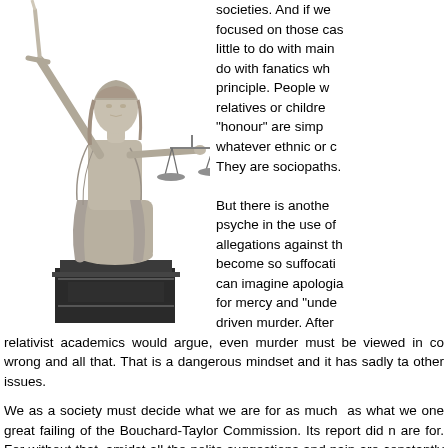[Figure (photo): Statue of Lady Justice holding scales and a sword, standing on a pedestal, monochrome/sepia photo]
societies. And if we focused on those cases, little to do with main do with fanatics wh principle. People w relatives or childre "honour" are simp whatever ethnic or c They are sociopaths.

But there is anothe psyche in the use of allegations against th become so suffocati can imagine apologia for mercy and "unde driven murder. After relativist academics would argue, even murder must be viewed in co wrong and all that. That is a dangerous mindset and it has sadly ta other issues.
We as a society must decide what we are for as much as what we one great failing of the Bouchard-Taylor Commission. Its report did n are for. For without that, amidst all the polite suggestions and pain are constantly left with the gnawing impression that we have lost ou That we accommodate ourselves not to reason but to fear.
We as a people need to be proud of what we are. And there is no s multiculturalism, newcomers accept a free lay society. And for our re